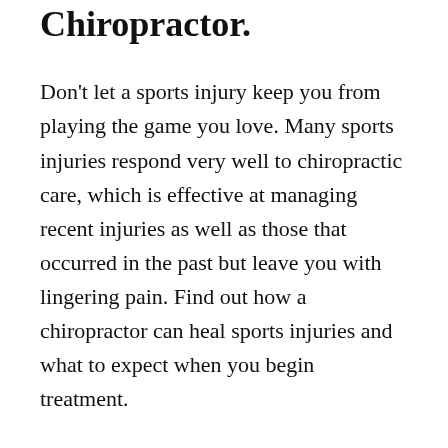Chiropractor.
Don't let a sports injury keep you from playing the game you love. Many sports injuries respond very well to chiropractic care, which is effective at managing recent injuries as well as those that occurred in the past but leave you with lingering pain. Find out how a chiropractor can heal sports injuries and what to expect when you begin treatment.
How a Sports Chiropractor Heals Injuries
Common advice after a sports injury is to rest and ice. Most athletes hope the injury will go